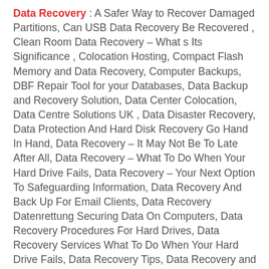Data Recovery : A Safer Way to Recover Damaged Partitions, Can USB Data Recovery Be Recovered , Clean Room Data Recovery – What s Its Significance , Colocation Hosting, Compact Flash Memory and Data Recovery, Computer Backups, DBF Repair Tool for your Databases, Data Backup and Recovery Solution, Data Center Colocation, Data Centre Solutions UK , Data Disaster Recovery, Data Protection And Hard Disk Recovery Go Hand In Hand, Data Recovery – It May Not Be To Late After All, Data Recovery – What To Do When Your Hard Drive Fails, Data Recovery – Your Next Option To Safeguarding Information, Data Recovery And Back Up For Email Clients, Data Recovery Datenrettung Securing Data On Computers, Data Recovery Procedures For Hard Drives, Data Recovery Services What To Do When Your Hard Drive Fails, Data Recovery Tips, Data Recovery and Your Computer, Data backup Service , Data protection, Disk Recovery Wizard by WizardRecovery.com, Emergency Disk Recovery And Hard disk Miracle Systems Limited